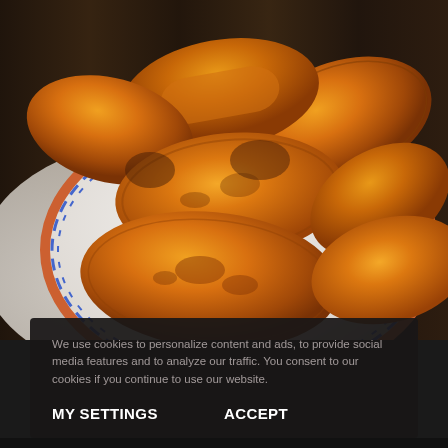[Figure (photo): Close-up photo of golden-brown fried plantains piled on a blue and white decorative plate, placed on a white cloth on a dark wooden surface.]
We use cookies to personalize content and ads, to provide social media features and to analyze our traffic. You consent to our cookies if you continue to use our website.
MY SETTINGS
ACCEPT